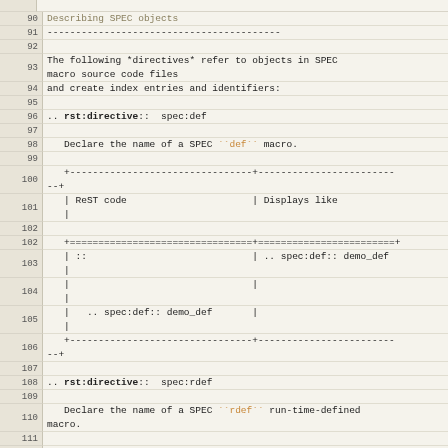Code viewer showing lines 90-113 of SPEC documentation source
Describing SPEC objects
The following *directives* refer to objects in SPEC macro source code files and create index entries and identifiers:
.. rst:directive::  spec:def
Declare the name of a SPEC ``def`` macro.
| ReST code | Displays like |
| --- | --- |
| ::  | .. spec:def:: demo_def |
|  |  |
|  .. spec:def:: demo_def |  |
.. rst:directive::  spec:rdef
Declare the name of a SPEC ``rdef`` run-time-defined macro.